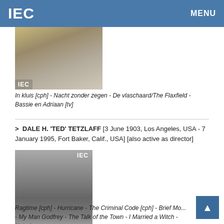IEC  MENU
[Figure (photo): Partial/cropped photo of a person with IEC watermark label]
In kluis [cph] - Nacht zonder zegen - De vlaschaard/The Flaxfield - Bassie en Adriaan [tv]
> DALE H. 'TED' TETZLAFF [3 June 1903, Los Angeles, USA - 7 January 1995, Fort Baker, Calif., USA] [also active as director]
[Figure (photo): Black and white portrait photo of Dale H. 'Ted' Tetzlaff with IEC watermark]
Ragtime [cph] - Hurricane - The Criminal Code [cph] - Brief Mo... - My Man Godfrey - The Talk of the Town - I Married a Witch - Notorious